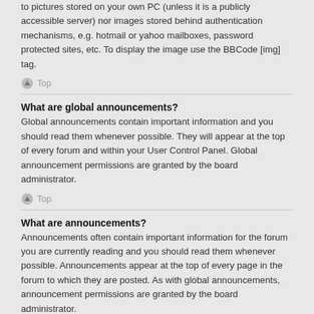to pictures stored on your own PC (unless it is a publicly accessible server) nor images stored behind authentication mechanisms, e.g. hotmail or yahoo mailboxes, password protected sites, etc. To display the image use the BBCode [img] tag.
Top
What are global announcements?
Global announcements contain important information and you should read them whenever possible. They will appear at the top of every forum and within your User Control Panel. Global announcement permissions are granted by the board administrator.
Top
What are announcements?
Announcements often contain important information for the forum you are currently reading and you should read them whenever possible. Announcements appear at the top of every page in the forum to which they are posted. As with global announcements, announcement permissions are granted by the board administrator.
Top
What are sticky topics?